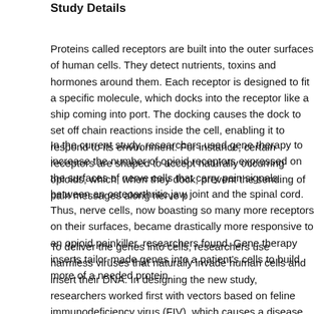Study Details
Proteins called receptors are built into the outer surfaces of human cells. They detect nutrients, toxins and hormones around them. Each receptor is designed to fit a specific molecule, which docks into the receptor like a ship coming into port. The docking causes the dock to set off chain reactions inside the cell, enabling it to respond to its environment. For instance, certain receptors are shaped to accept naturally occurring opioids, which, when they dock, prevent the sending of pain messages along nerve pathways.
In the current study, researchers used gene therapy to increase the number of opioid receptors expressed on the surfaces of nerve cells that carry pain signals between an osteoarthritic jaw joint and the spinal cord. Thus, nerve cells, now boasting so many more receptors on their surfaces, became drastically more responsive to an opioid painkiller, researchers found. Gene therapy inserts tailor-made genes into a patient's cells to build more of a needed protein.
To deliver the genes into cells, researchers use harmless viruses that naturally invade human cells and insert their DNA. In designing the new study, researchers worked first with vectors based on feline immunodeficiency virus (FIV), which causes a disease of cats. It resembles HIV in humans, but is incapable of causing disease in humans. Based on results, however, the team will seek to deliver the same gene therapy vector in the next phase of experiments. Kyrkanides is partnering with researchers